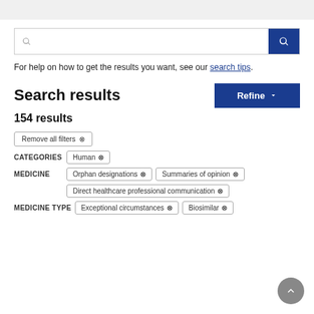For help on how to get the results you want, see our search tips.
Search results
154 results
Remove all filters ×
CATEGORIES  Human ×
MEDICINE  Orphan designations ×  Summaries of opinion ×  Direct healthcare professional communication ×
MEDICINE TYPE  Exceptional circumstances ×  Biosimilar ×